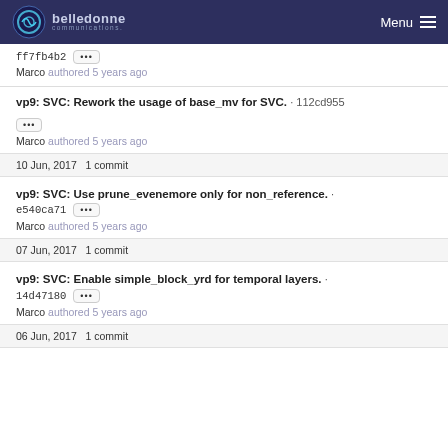belledonne communications — Menu
ff7fb4b2 ••• Marco authored 5 years ago
vp9: SVC: Rework the usage of base_mv for SVC. · 112cd955 ••• Marco authored 5 years ago
10 Jun, 2017 1 commit
vp9: SVC: Use prune_evenemore only for non_reference. · e540ca71 ••• Marco authored 5 years ago
07 Jun, 2017 1 commit
vp9: SVC: Enable simple_block_yrd for temporal layers. · 14d47180 ••• Marco authored 5 years ago
06 Jun, 2017 1 commit